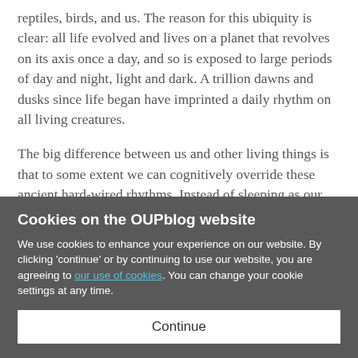reptiles, birds, and us. The reason for this ubiquity is clear: all life evolved and lives on a planet that revolves on its axis once a day, and so is exposed to large periods of day and night, light and dark. A trillion dawns and dusks since life began have imprinted a daily rhythm on all living creatures.
The big difference between us and other living things is that to some extent we can cognitively override these ancient hard-wired rhythms. Instead of sleeping as our bodies dictate, we drink another cup of coffee, turn up the radio, roll down the window, and hide under that proverbial...
Cookies on the OUPblog website
We use cookies to enhance your experience on our website. By clicking 'continue' or by continuing to use our website, you are agreeing to our use of cookies. You can change your cookie settings at any time.
Continue